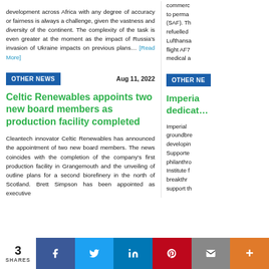development across Africa with any degree of accuracy or fairness is always a challenge, given the vastness and diversity of the continent. The complexity of the task is even greater at the moment as the impact of Russia's invasion of Ukraine impacts on previous plans... [Read More]
commerc... to perma... (SAF). Th... refuelled... Lufthansa... flight AF7... medical a...
OTHER NEWS
Aug 11, 2022
OTHER NE...
Celtic Renewables appoints two new board members as production facility completed
Imperia... dedicat...
Cleantech innovator Celtic Renewables has announced the appointment of two new board members. The news coincides with the completion of the company's first production facility in Grangemouth and the unveiling of outline plans for a second biorefinery in the north of Scotland. Brett Simpson has been appointed as executive
Imperial groundbre... developin... Supporte... philanthro... Institute f... breakthr... support th...
3 SHARES